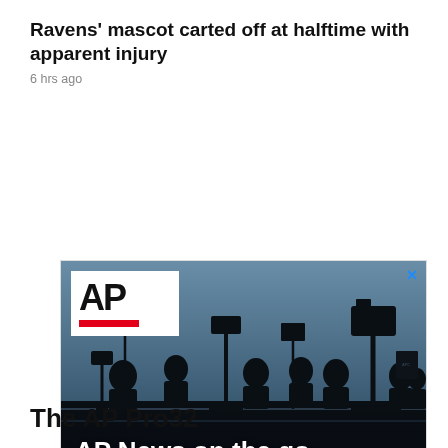Ravens' mascot carted off at halftime with apparent injury
6 hrs ago
[Figure (advertisement): AP News advertisement showing silhouettes of camera operators against a blue-grey sky. Features AP logo in white box top-left, red decorative bar, text 'AP News on the go', red underline, and 'DOWNLOAD NOW' white button. Close X button top-right.]
The AP Pro32